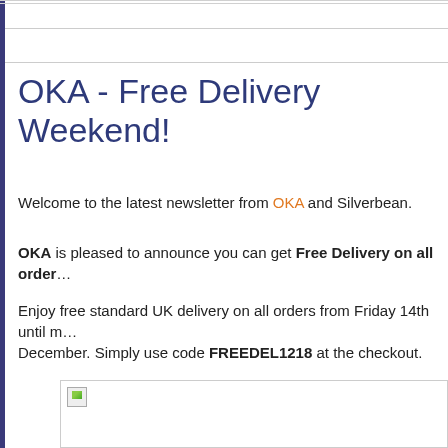OKA - Free Delivery Weekend!
Welcome to the latest newsletter from OKA and Silverbean.
OKA is pleased to announce you can get Free Delivery on all orders
Enjoy free standard UK delivery on all orders from Friday 14th until midnight Sunday 16th December. Simply use code FREEDEL1218 at the checkout.
[Figure (photo): Image placeholder with broken image icon, content not loaded]